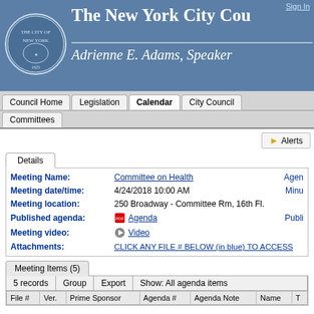The New York City Council — Adrienne E. Adams, Speaker
Council Home | Legislation | Calendar | City Council | Committees
Sign In
▶ Alerts
Details
Meeting Name: Committee on Health
Meeting date/time: 4/24/2018 10:00 AM
Meeting location: 250 Broadway - Committee Rm, 16th Fl.
Published agenda: Agenda
Meeting video: Video
Attachments: CLICK ANY FILE # BELOW (in blue) TO ACCESS
Meeting Items (5)
| File # | Ver. | Prime Sponsor | Agenda # | Agenda Note | Name | T |
| --- | --- | --- | --- | --- | --- | --- |
| 5 records | Group | Export | Show: All agenda items |  |  |  |